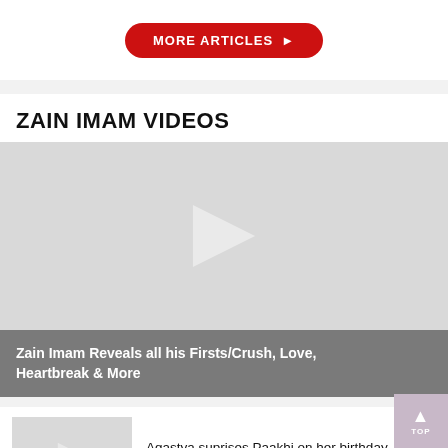MORE ARTICLES ▶
ZAIN IMAM VIDEOS
[Figure (other): Large video thumbnail placeholder with play icon for 'Zain Imam Reveals all his Firsts/Crush, Love, Heartbreak & More']
Zain Imam Reveals all his Firsts/Crush, Love, Heartbreak & More
[Figure (other): Small video thumbnail placeholder with play icon for 'Agastya suprises Paakhi on her birthday, Paakhi meets her father']
Agastya suprises Paakhi on her birthday, Paakhi meets her father